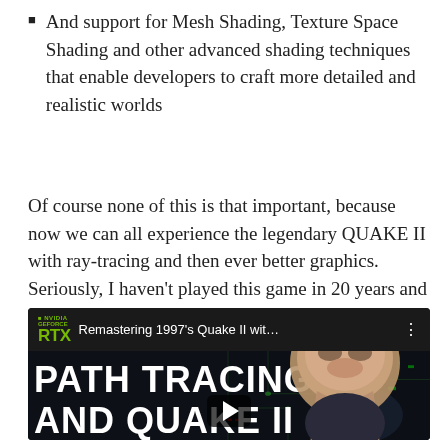And support for Mesh Shading, Texture Space Shading and other advanced shading techniques that enable developers to craft more detailed and realistic worlds
Of course none of this is that important, because now we can all experience the legendary QUAKE II with ray-tracing and then ever better graphics. Seriously, I haven't played this game in 20 years and now I want to build a gaming rig…
[Figure (screenshot): YouTube video thumbnail showing 'Remastering 1997's Quake II wit...' with NVIDIA GeForce RTX branding, text overlay 'PATH TRACING AND QUAKE II EXPLAINED', green circuit board graphics, a person smiling, and a play button.]